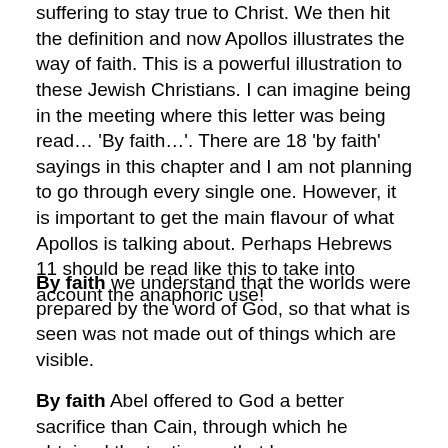suffering to stay true to Christ.  We then hit the definition and now Apollos illustrates the way of faith.  This is a powerful illustration to these Jewish Christians.  I can imagine being in the meeting where this letter was being read… 'By faith…'. There are 18 'by faith' sayings in this chapter and I am not planning to go through every single one.  However, it is important to get the main flavour of what Apollos is talking about.   Perhaps Hebrews 11 should be read like this to take into account the anaphoric use!
By faith we understand that the worlds were prepared by the word of God, so that what is seen was not made out of things which are visible.
By faith Abel offered to God a better sacrifice than Cain, through which he obtained the testimony that he was